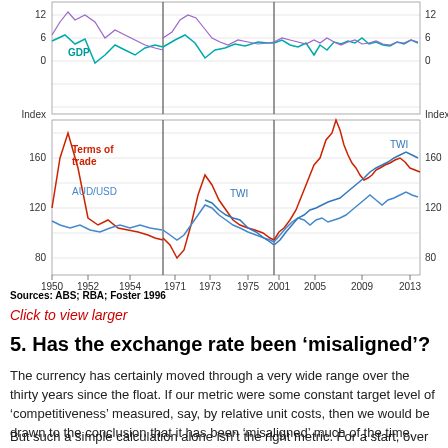[Figure (line-chart): Multi-panel line chart showing GDP growth (top panel, percent), and Terms of Trade, AUD/USD and TWI index (bottom panel) across time periods: 1950-1955, 1971-1979, 2001-2013]
Sources: ABS; RBA; Foster 1996
Click to view larger
5. Has the exchange rate been ‘misaligned’?
The currency has certainly moved through a very wide range over the thirty years since the float. If our metric were some constant target level of ‘competitiveness’ measured, say, by relative unit costs, then we would be drawn to the conclusion that it has been ‘misaligned’ much of the time.
But such a simple calculation alone isn’t the right metric. For a start, over the course of a business cycle the exchange rate